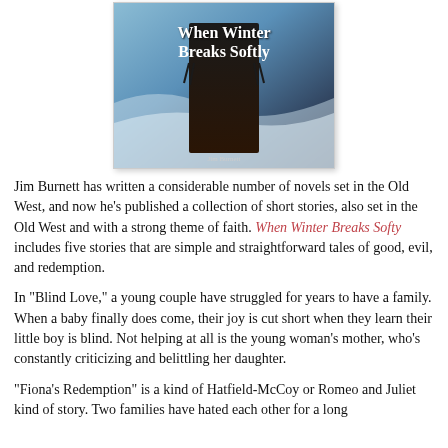[Figure (illustration): Book cover of 'When Winter Breaks Softly' showing a snowy winter scene with a figure in dark clothing, white decorative title text on a blue and dark background.]
Jim Burnett has written a considerable number of novels set in the Old West, and now he’s published a collection of short stories, also set in the Old West and with a strong theme of faith. When Winter Breaks Softy includes five stories that are simple and straightforward tales of good, evil, and redemption.
In “Blind Love,” a young couple have struggled for years to have a family. When a baby finally does come, their joy is cut short when they learn their little boy is blind. Not helping at all is the young woman’s mother, who’s constantly criticizing and belittling her daughter.
“Fiona’s Redemption” is a kind of Hatfield-McCoy or Romeo and Juliet kind of story. Two families have hated each other for a long